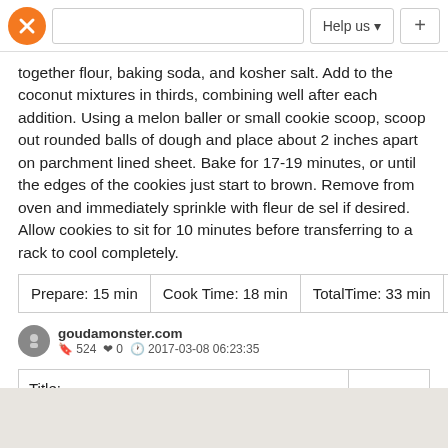[Figure (screenshot): Navigation bar with orange logo, search box, Help us dropdown, and plus button]
together flour, baking soda, and kosher salt. Add to the coconut mixtures in thirds, combining well after each addition. Using a melon baller or small cookie scoop, scoop out rounded balls of dough and place about 2 inches apart on parchment lined sheet. Bake for 17-19 minutes, or until the edges of the cookies just start to brown. Remove from oven and immediately sprinkle with fleur de sel if desired. Allow cookies to sit for 10 minutes before transferring to a rack to cool completely.
| Prepare: 15 min | Cook Time: 18 min | TotalTime: 33 min |  |
| --- | --- | --- | --- |
goudamonster.com
🔖 524 ❤ 0 🕐 2017-03-08 06:23:35
| Title: |  |
| Descrition: |  |